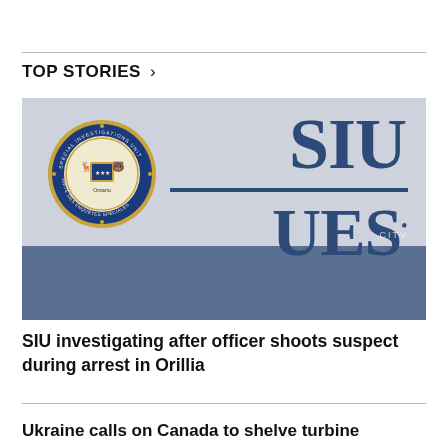TOP STORIES >
[Figure (photo): Photo of the SIU (Special Investigations Unit / Unité des Enquêtes Spéciales) sign on a building, showing the circular SIU seal on the left and large blue letters 'SIU / UES' on the right, with a glass-windowed lower portion reflecting trees. CITV watermark in bottom right.]
SIU investigating after officer shoots suspect during arrest in Orillia
Ukraine calls on Canada to shelve turbine